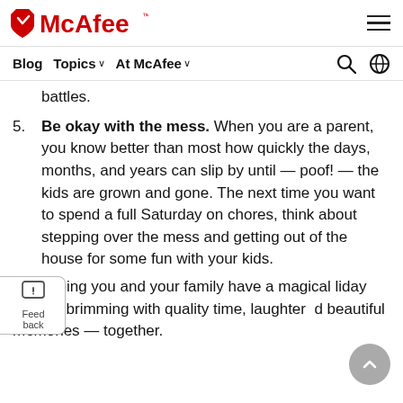McAfee
Blog  Topics ∨  At McAfee ∨
battles.
5. Be okay with the mess. When you are a parent, you know better than most how quickly the days, months, and years can slip by until — poof! — the kids are grown and gone. The next time you want to spend a full Saturday on chores, think about stepping over the mess and getting out of the house for some fun with your kids.
re's hoping you and your family have a magical liday season brimming with quality time, laughter and beautiful memories — together.